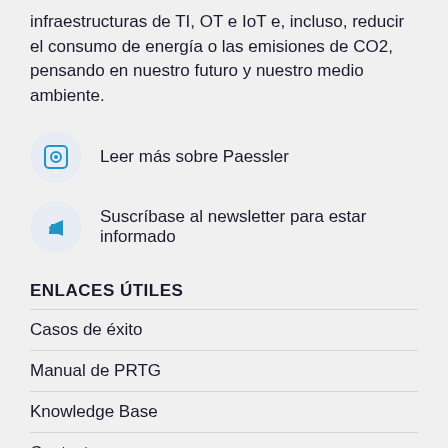infraestructuras de TI, OT e IoT e, incluso, reducir el consumo de energía o las emisiones de CO2, pensando en nuestro futuro y nuestro medio ambiente.
Leer más sobre Paessler
Suscríbase al newsletter para estar informado
ENLACES ÚTILES
Casos de éxito
Manual de PRTG
Knowledge Base
Contacto
Blog